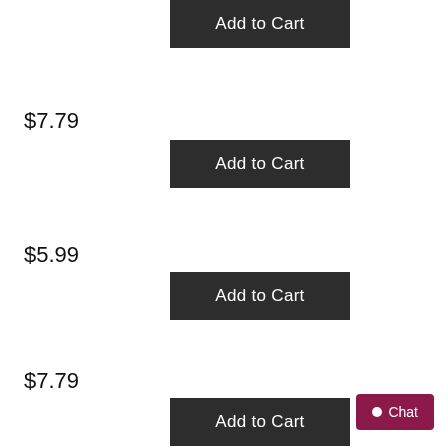Add to Cart
$7.79
Add to Cart
$5.99
Add to Cart
$7.79
Add to Cart
Chat